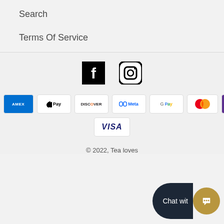Search
Terms Of Service
[Figure (logo): Facebook and Instagram social media icons]
[Figure (infographic): Payment method badges: Amazon, Amex, Apple Pay, Discover, Meta, Google Pay, Mastercard, O Pay, Visa]
© 2022, Tea loves